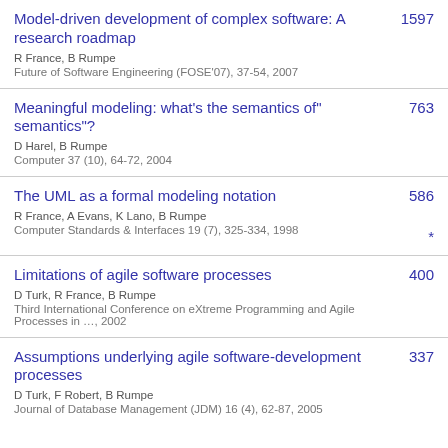Model-driven development of complex software: A research roadmap
R France, B Rumpe
Future of Software Engineering (FOSE'07), 37-54, 2007
1597
Meaningful modeling: what's the semantics of" semantics"?
D Harel, B Rumpe
Computer 37 (10), 64-72, 2004
763
The UML as a formal modeling notation
R France, A Evans, K Lano, B Rumpe
Computer Standards & Interfaces 19 (7), 325-334, 1998
586 *
Limitations of agile software processes
D Turk, R France, B Rumpe
Third International Conference on eXtreme Programming and Agile Processes in ..., 2002
400
Assumptions underlying agile software-development processes
D Turk, F Robert, B Rumpe
Journal of Database Management (JDM) 16 (4), 62-87, 2005
337